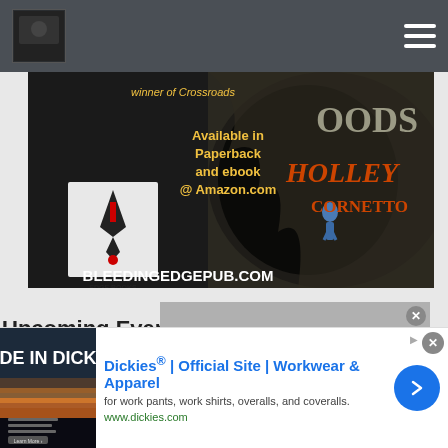[Figure (screenshot): Website screenshot showing a navigation bar with logo and hamburger menu at top]
[Figure (illustration): Book advertisement banner for Holley Cornetto's book published by Bleeding Edge Books. Text reads: 'winner of Crossroads', 'Available in Paperback and ebook @ Amazon.com', 'BLEEDING EDGE BOOKS', 'BLEEDINGEDGEPUB.COM'. Dark forest/cave background with figure in blue.]
Upcoming Events
[Figure (screenshot): Video player placeholder showing 'NO COMPATIBLE SOURCE WAS' text on grey background with close button]
[Figure (screenshot): Advertisement for Dickies® | Official Site | Workwear & Apparel. Description: 'for work pants, work shirts, overalls, and coveralls.' URL: www.dickies.com. Shows product thumbnail image and blue arrow button.]